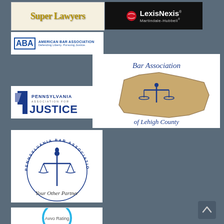[Figure (logo): Super Lawyers logo with golden styled text on light background]
[Figure (logo): LexisNexis Martindale-Hubbell logo with red cricket ball icon on black background]
[Figure (logo): American Bar Association logo - ABA with text 'Defending Liberty. Pursuing Justice']
[Figure (logo): Bar Association of Lehigh County logo with scales of justice on Pennsylvania map shape]
[Figure (logo): Pennsylvania Association for Justice logo with stylized PA and text]
[Figure (logo): Pennsylvania Bar Association logo with scales of justice circular seal and 'Your Other Partner' tagline]
[Figure (logo): Avvo Rating logo partially visible at bottom]